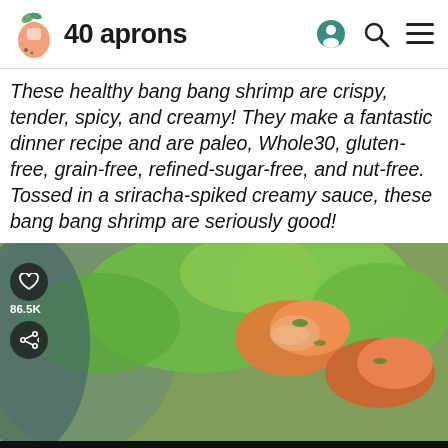40 aprons
These healthy bang bang shrimp are crispy, tender, spicy, and creamy! They make a fantastic dinner recipe and are paleo, Whole30, gluten-free, grain-free, refined-sugar-free, and nut-free. Tossed in a sriracha-spiked creamy sauce, these bang bang shrimp are seriously good!
[Figure (photo): Close-up photo of bang bang shrimp with green lettuce leaves in a bowl, with heart/save button showing 86.5K saves and a share button overlay]